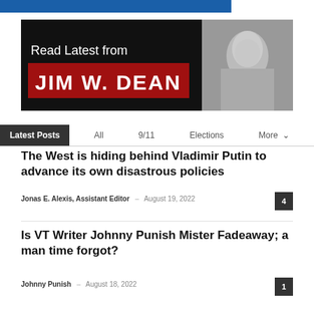[Figure (screenshot): Blue top banner bar]
[Figure (illustration): Jim W. Dean promotional banner: black background with text 'Read Latest from JIM W. DEAN' in white and red, with a grayscale photo of a man on the right side]
Latest Posts
All  9/11  Elections  More
The West is hiding behind Vladimir Putin to advance its own disastrous policies
Jonas E. Alexis, Assistant Editor – August 19, 2022  4
Is VT Writer Johnny Punish Mister Fadeaway; a man time forgot?
Johnny Punish – August 18, 2022  1